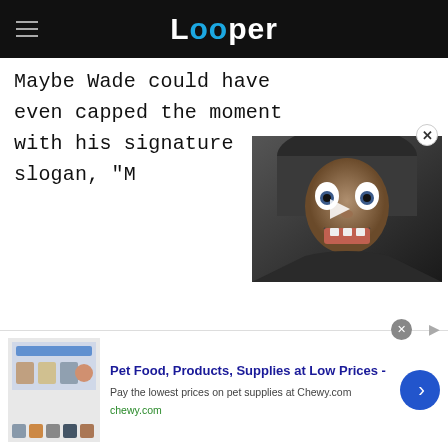Looper
Maybe Wade could have even capped the moment with his signature slogan, "M
[Figure (photo): Video player thumbnail showing a hobbit-like character with wide eyes and an intense expression, with a play button overlay. Close button in top-right corner.]
[Figure (infographic): Advertisement for Chewy.com: Pet Food, Products, Supplies at Low Prices. Shows pet product images on the left, ad text in the center, and a blue circular arrow CTA button on the right.]